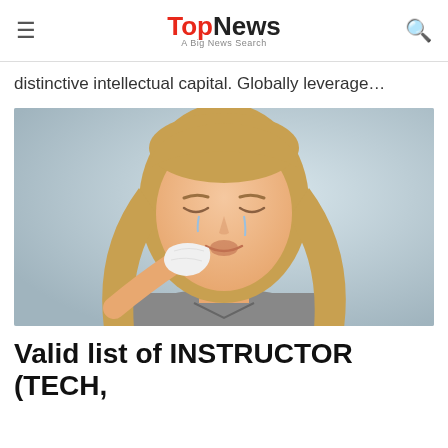TopNews — A Big News Search
distinctive intellectual capital. Globally leverage…
[Figure (photo): A young blonde woman crying, holding a white tissue to her face, against a light blue-grey background]
Valid list of INSTRUCTOR (TECH,